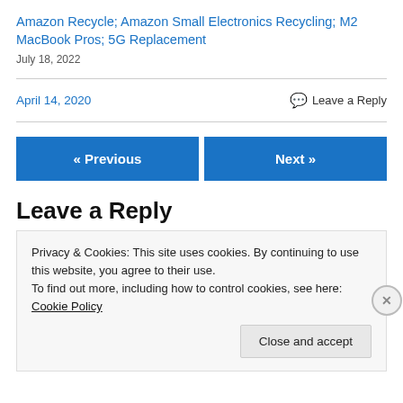Amazon Recycle; Amazon Small Electronics Recycling; M2 MacBook Pros; 5G Replacement
July 18, 2022
April 14, 2020
Leave a Reply
« Previous
Next »
Leave a Reply
Privacy & Cookies: This site uses cookies. By continuing to use this website, you agree to their use.
To find out more, including how to control cookies, see here: Cookie Policy
Close and accept